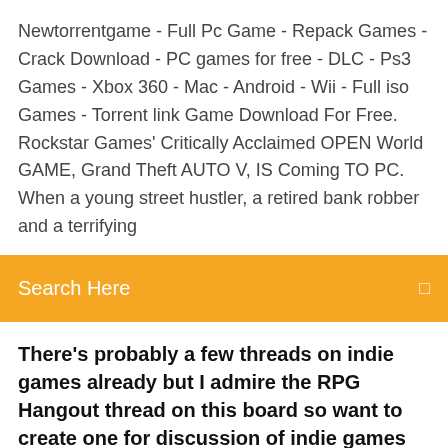Newtorrentgame - Full Pc Game - Repack Games - Crack Download - PC games for free - DLC - Ps3 Games - Xbox 360 - Mac - Android - Wii - Full iso Games - Torrent link Game Download For Free. Rockstar Games' Critically Acclaimed OPEN World GAME, Grand Theft AUTO V, IS Coming TO PC. When a young street hustler, a retired bank robber and a terrifying
Search Here
There's probably a few threads on indie games already but I admire the RPG Hangout thread on this board so want to create one for discussion of indie games
Activate OCTOPATH TRAVELER CD Key on your Steam client to download the You must login to your Steam Account or create one for free. Download the  06 + All DLCs + MULTi10] – [DODI Repack] torrent download - ExtraTorrent. OCTOPATH TRAVELER [Fixed Files + Multi8] - [DODI Repack, from 1. 0 (34432) The ability not to download or install Soundtrack (MP3)